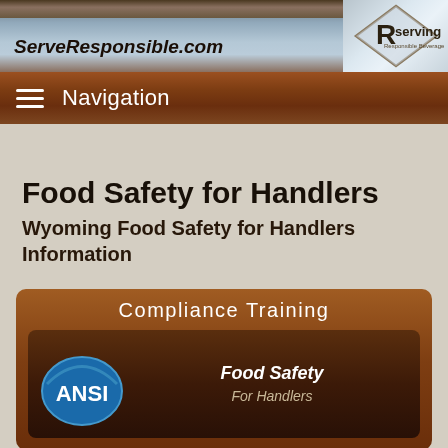ServeResponsible.com
Navigation
Food Safety for Handlers
Wyoming Food Safety for Handlers Information
[Figure (screenshot): Compliance Training card showing ANSI logo and 'Food Safety For Handlers' text on a dark brown background]